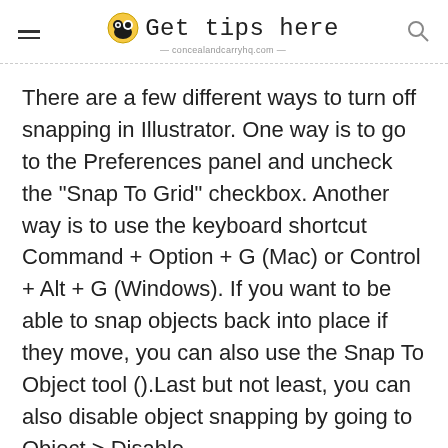Get tips here — concealandcarryhq.com
There are a few different ways to turn off snapping in Illustrator. One way is to go to the Preferences panel and uncheck the "Snap To Grid" checkbox. Another way is to use the keyboard shortcut Command + Option + G (Mac) or Control + Alt + G (Windows). If you want to be able to snap objects back into place if they move, you can also use the Snap To Object tool ().Last but not least, you can also disable object snapping by going to Object > Disable